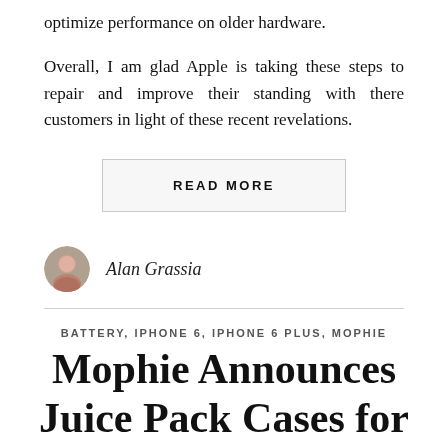optimize performance on older hardware.
Overall, I am glad Apple is taking these steps to repair and improve their standing with there customers in light of these recent revelations.
READ MORE
Alan Grassia
BATTERY, IPHONE 6, IPHONE 6 PLUS, MOPHIE
Mophie Announces Juice Pack Cases for Apple iPhone 6, iPhone 6 Plus